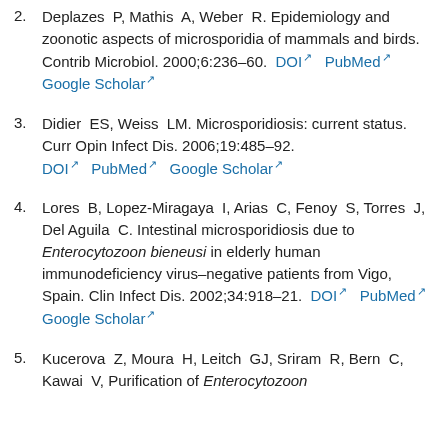2. Deplazes P, Mathis A, Weber R. Epidemiology and zoonotic aspects of microsporidia of mammals and birds. Contrib Microbiol. 2000;6:236–60. DOI PubMed Google Scholar
3. Didier ES, Weiss LM. Microsporidiosis: current status. Curr Opin Infect Dis. 2006;19:485–92. DOI PubMed Google Scholar
4. Lores B, Lopez-Miragaya I, Arias C, Fenoy S, Torres J, Del Aguila C. Intestinal microsporidiosis due to Enterocytozoon bieneusi in elderly human immunodeficiency virus–negative patients from Vigo, Spain. Clin Infect Dis. 2002;34:918–21. DOI PubMed Google Scholar
5. Kucerova Z, Moura H, Leitch GJ, Sriram R, Bern C, Kawai V, Purification of Enterocytozoon bieneusi from...